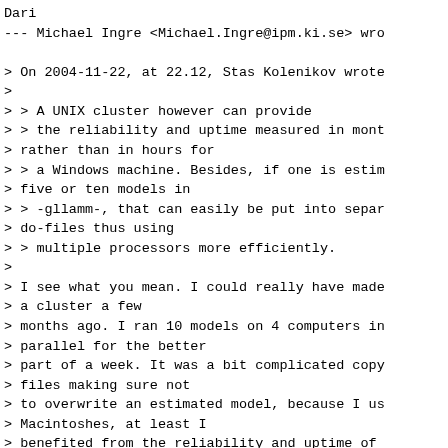Dari
--- Michael Ingre <Michael.Ingre@ipm.ki.se> wro

> On 2004-11-22, at 22.12, Stas Kolenikov wrote
>
> > A UNIX cluster however can provide
> > the reliability and uptime measured in mont
> rather than in hours for
> > a Windows machine. Besides, if one is estim
> five or ten models in
> > -gllamm-, that can easily be put into separ
> do-files thus using
> > multiple processors more efficiently.
>
> I see what you mean. I could really have made
> a cluster a few
> months ago. I ran 10 models on 4 computers in
> parallel for the better
> part of a week. It was a bit complicated copy
> files making sure not
> to overwrite an estimated model, because I us
> Macintoshes, at least I
> benefited from the reliability and uptime of
> And many thanks to
> Michael Blasnik for -estsave-. Without it it